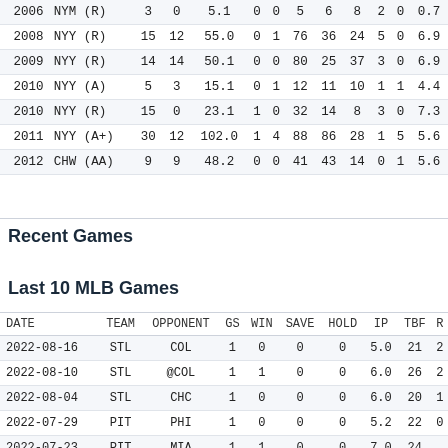| Year | Team | G | GS | IP | W | L | H | BB | SO | HR | HBP | ERA |
| --- | --- | --- | --- | --- | --- | --- | --- | --- | --- | --- | --- | --- |
| 2006 | NYM (R) | 3 | 0 | 5.1 | 0 | 0 | 5 | 6 | 8 | 2 | 0 | 0.7 |
| 2008 | NYY (R) | 15 | 12 | 55.0 | 0 | 1 | 76 | 36 | 24 | 5 | 0 | 6.9 |
| 2009 | NYY (R) | 14 | 14 | 50.1 | 0 | 0 | 80 | 25 | 37 | 3 | 0 | 6.9 |
| 2010 | NYY (A) | 5 | 3 | 15.1 | 0 | 1 | 12 | 11 | 10 | 1 | 1 | 4.4 |
| 2010 | NYY (R) | 15 | 0 | 23.1 | 1 | 0 | 32 | 14 | 8 | 3 | 0 | 7.3 |
| 2011 | NYY (A+) | 30 | 12 | 102.0 | 1 | 4 | 88 | 86 | 28 | 1 | 5 | 5.6 |
| 2012 | CHW (AA) | 9 | 9 | 48.2 | 0 | 0 | 41 | 43 | 14 | 0 | 1 | 5.6 |
Recent Games
Last 10 MLB Games
| DATE | TEAM | OPPONENT | GS | WIN | SAVE | HOLD | IP | TBF | R |
| --- | --- | --- | --- | --- | --- | --- | --- | --- | --- |
| 2022-08-16 | STL | COL | 1 | 0 | 0 | 0 | 5.0 | 21 | 2 |
| 2022-08-10 | STL | @COL | 1 | 1 | 0 | 0 | 6.0 | 26 | 2 |
| 2022-08-04 | STL | CHC | 1 | 0 | 0 | 0 | 6.0 | 20 | 1 |
| 2022-07-29 | PIT | PHI | 1 | 0 | 0 | 0 | 5.2 | 22 | 0 |
| 2022-07-23 | PIT | MIA | 1 | 1 | 0 | 0 | 7.0 | 24 |  |